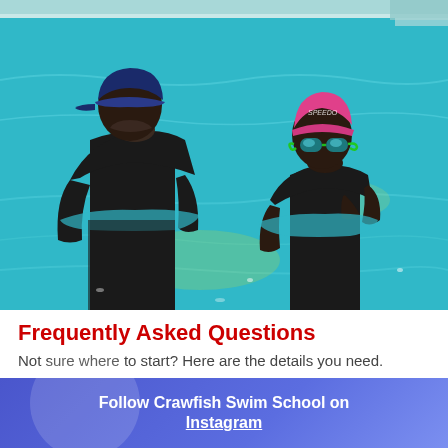[Figure (photo): Two people standing in a swimming pool. The person on the left wears a dark blue cap and black t-shirt, seen from behind. The person on the right wears a pink swim cap and teal goggles with a black swimsuit, facing the camera. Bright blue pool water surrounds them.]
Frequently Asked Questions
Not sure where to start? Here are the details you need.
Follow Crawfish Swim School on Instagram